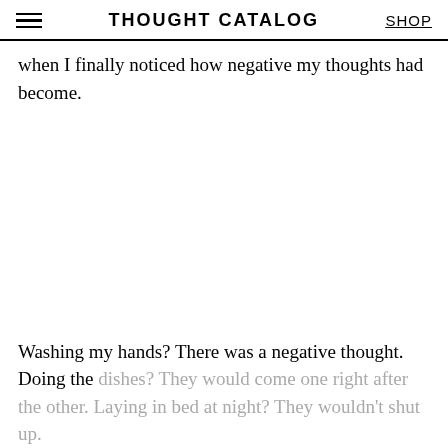THOUGHT CATALOG | SHOP
when I finally noticed how negative my thoughts had become.
Washing my hands? There was a negative thought. Doing the dishes? They would come one right after the other. Laying in bed at night? They wouldn't shut up.